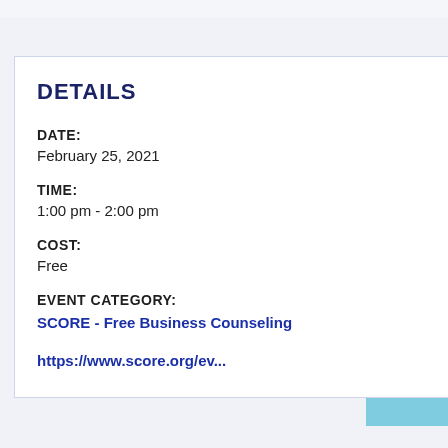DETAILS
DATE:
February 25, 2021
TIME:
1:00 pm - 2:00 pm
COST:
Free
EVENT CATEGORY:
SCORE - Free Business Counseling
https://www.score.org/ev...
[Figure (map): Partial map showing Albany area with roads and water, colored green with yellow roads]